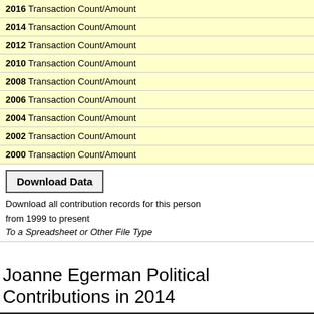2016 Transaction Count/Amount
2014 Transaction Count/Amount
2012 Transaction Count/Amount
2010 Transaction Count/Amount
2008 Transaction Count/Amount
2006 Transaction Count/Amount
2004 Transaction Count/Amount
2002 Transaction Count/Amount
2000 Transaction Count/Amount
Download Data
Download all contribution records for this person from 1999 to present
To a Spreadsheet or Other File Type
Joanne Egerman Political Contributions in 2014
| Name & Location | Employer/Occupation | Dollar Amount | Date | Primary/General | Contributed To |
| --- | --- | --- | --- | --- | --- |
| EGERMAN, JOANNE
WESTON, MA
02493 | Not Employed/Not Employed | $2,600 | 11/19/2014 | G | ACTBLUE |
| EGERMAN, JOANNE
WESTON, MA |  |  |  |  |  |